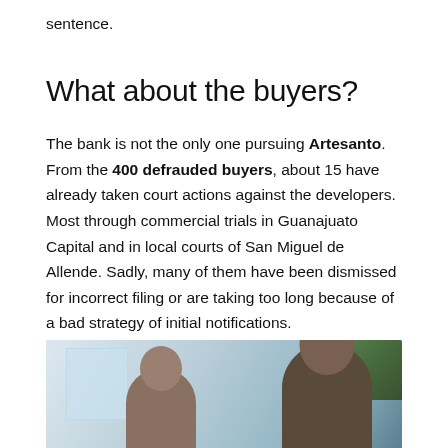sentence.
What about the buyers?
The bank is not the only one pursuing Artesanto. From the 400 defrauded buyers, about 15 have already taken court actions against the developers. Most through commercial trials in Guanajuato Capital and in local courts of San Miguel de Allende. Sadly, many of them have been dismissed for incorrect filing or are taking too long because of a bad strategy of initial notifications.
[Figure (photo): Photo of two people, likely a man and a woman, in an indoor/office setting with greenery visible in background]